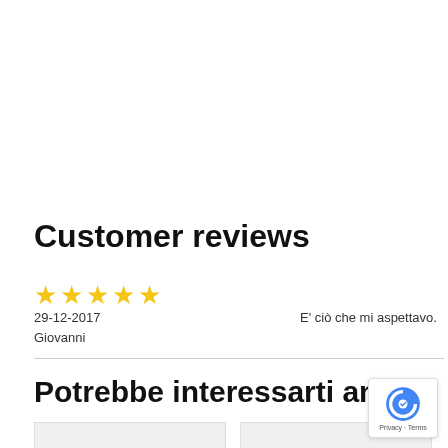Customer reviews
[Figure (other): 5 yellow stars rating]
29-12-2017
Giovanni
E&#039; ci&ograve; che mi aspettavo.
Potrebbe interessarti anch